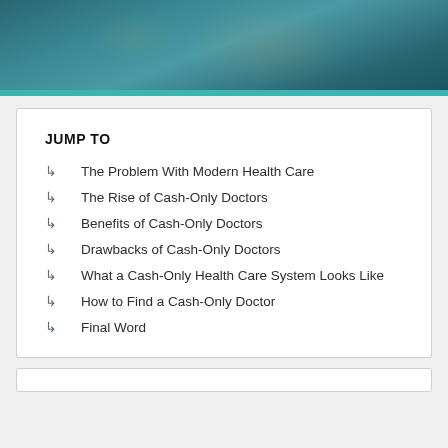[Figure (photo): Dark teal-tinted header image showing US dollar bills overlaid with a dark blue-green color wash]
JUMP TO
The Problem With Modern Health Care
The Rise of Cash-Only Doctors
Benefits of Cash-Only Doctors
Drawbacks of Cash-Only Doctors
What a Cash-Only Health Care System Looks Like
How to Find a Cash-Only Doctor
Final Word